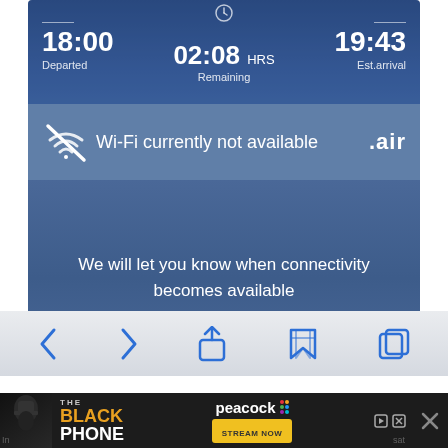[Figure (screenshot): Mobile phone screenshot showing an in-flight entertainment system interface. Top section shows flight departure time 18:00, remaining time 02:08 HRS, and estimated arrival 19:43 against a dark blue background with airplane silhouette. A Wi-Fi unavailability message bar shows a crossed Wi-Fi icon and '.air' branding. Body text reads 'We will let you know when connectivity becomes available'. Bottom shows iOS browser navigation bar with back, forward, share, bookmarks and tabs icons.]
18:00
Departed
02:08 HRS
Remaining
19:43
Est.arrival
Wi-Fi currently not available
.air
We will let you know when connectivity becomes available
© KCivler Economy Class and Beyond 2019
www.economyclassandbeyond.com
[Figure (screenshot): Advertisement banner for 'The Black Phone' movie on Peacock. Dark background with movie poster image on left showing figure in hat. Orange 'BLACK' and white 'PHONE' text. Peacock logo with colored dots. Yellow 'STREAM NOW' button. Close X button on right. Ad control icons (play, close) visible.]